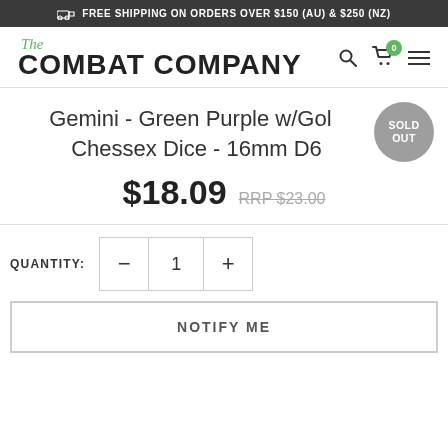FREE SHIPPING ON ORDERS OVER $150 (AU) & $250 (NZ)
[Figure (logo): The Combat Company logo with green cursive 'The' above bold black 'COMBAT COMPANY']
Gemini - Green Purple w/Gold Chessex Dice - 16mm D6
$18.09  RRP $23.00
QUANTITY: 1
NOTIFY ME